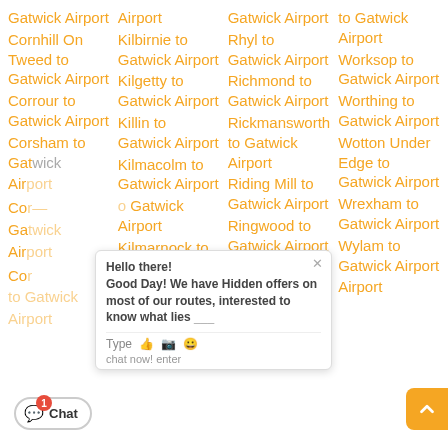Gatwick Airport
Cornhill On Tweed to Gatwick Airport
Corrour to Gatwick Airport
Corsham to Gatwick Airport
Airport
Kilbirnie to Gatwick Airport
Kilgetty to Gatwick Airport
Killin to Gatwick Airport
Kilmacolm to Gatwick Airport
Kilmarnock to Gatwick Airport
Kilwinning to Gatwick Airport
Gatwick Airport
Rhyl to Gatwick Airport
Richmond to Gatwick Airport
Rickmansworth to Gatwick Airport
Riding Mill to Gatwick Airport
Ringwood to Gatwick Airport
Ripley to
to Gatwick Airport
Worksop to Gatwick Airport
Worthing to Gatwick Airport
Wotton Under Edge to Gatwick Airport
Wrexham to Gatwick Airport
Wylam to Gatwick Airport
Airport